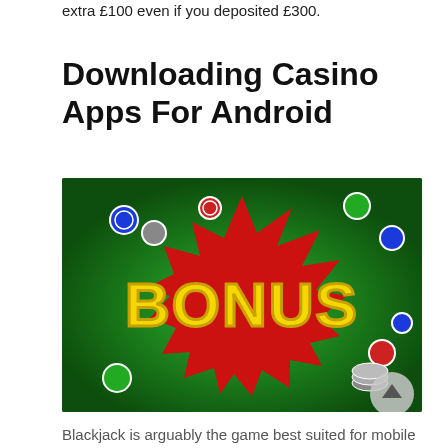extra £100 even if you deposited £300.
Downloading Casino Apps For Android
[Figure (photo): Promotional casino bonus image showing the word 'BONUS' in large yellow letters on a red starburst shape against a green background with poker chips scattered around.]
Blackjack is arguably the game best suited for mobile play. It doesn't require complicated graphics and animations and lends itself to a clean, simple interface. Many mobile blackjack